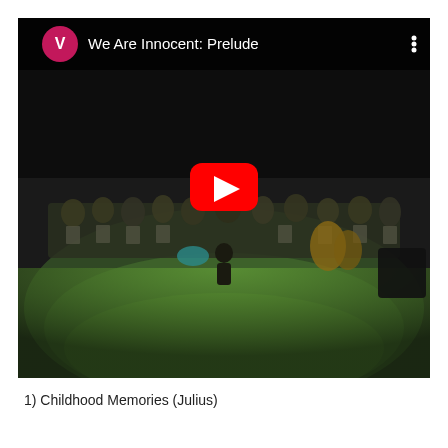[Figure (screenshot): YouTube video thumbnail/player showing a dark stage scene with an orchestra performing under green stage lighting. The video title bar at the top shows a pink/red channel icon with letter V and the title 'We Are Innocent: Prelude'. A red YouTube play button is centered over the video. A three-dot menu icon appears at the top right.]
1) Childhood Memories (Julius)